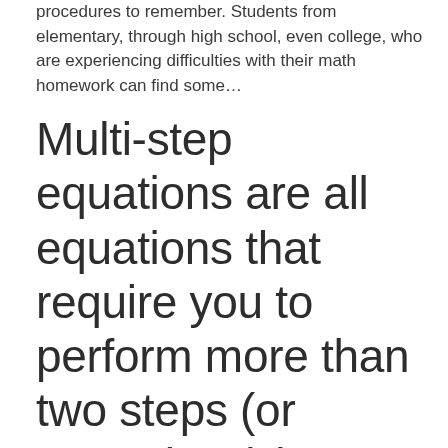procedures to remember. Students from elementary, through high school, even college, who are experiencing difficulties with their math homework can find some…
Multi-step equations are all equations that require you to perform more than two steps (or operations) in order to solve them. They can be simple or really hard to do, since there are no limitations on the number of steps you have to perform to get to a solution.